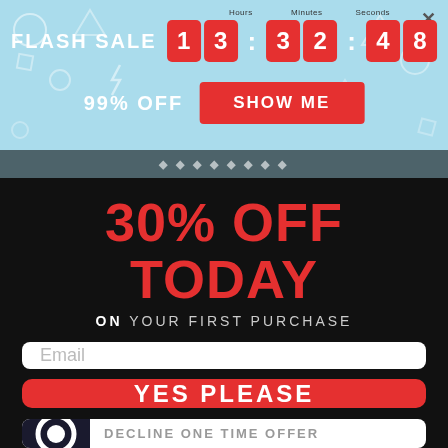[Figure (screenshot): Flash sale countdown banner with light blue background showing FLASH SALE text, countdown timer 13:32:48 with Hours/Minutes/Seconds labels, 99% OFF text and SHOW ME red button, with close X button]
30% OFF TODAY
ON YOUR FIRST PURCHASE
Email
YES PLEASE
DECLINE ONE TIME OFFER